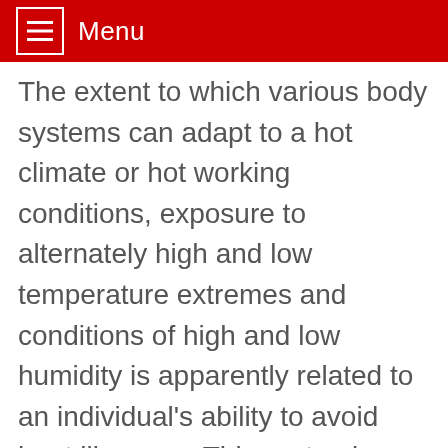Menu
The extent to which various body systems can adapt to a hot climate or hot working conditions, exposure to alternately high and low temperature extremes and conditions of high and low humidity is apparently related to an individual's ability to avoid heat illnesses. This systemic adaptation varies among individuals. Drinking adequate amounts of water and increasing the intake of salt are two preventive measures that may help to avoid heat illness,